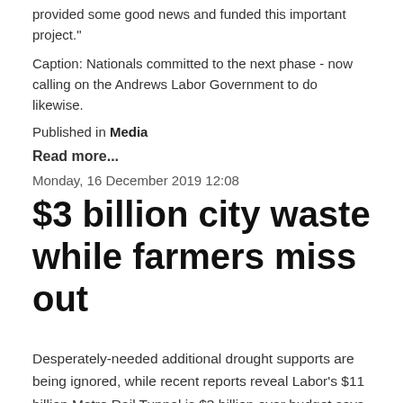provided some good news and funded this important project."
Caption: Nationals committed to the next phase - now calling on the Andrews Labor Government to do likewise.
Published in Media
Read more...
Monday, 16 December 2019 12:08
$3 billion city waste while farmers miss out
Desperately-needed additional drought supports are being ignored, while recent reports reveal Labor's $11 billion Metro Rail Tunnel is $3 billion over budget says Gippsland East Nationals MP, Tim Bull.
"That $3 billion over spend, which the government has not